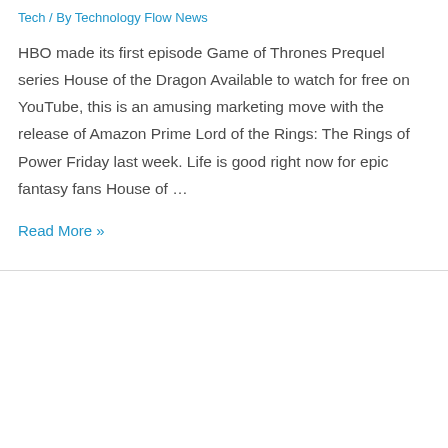Tech / By Technology Flow News
HBO made its first episode Game of Thrones Prequel series House of the Dragon Available to watch for free on YouTube, this is an amusing marketing move with the release of Amazon Prime Lord of the Rings: The Rings of Power Friday last week. Life is good right now for epic fantasy fans House of …
Read More »